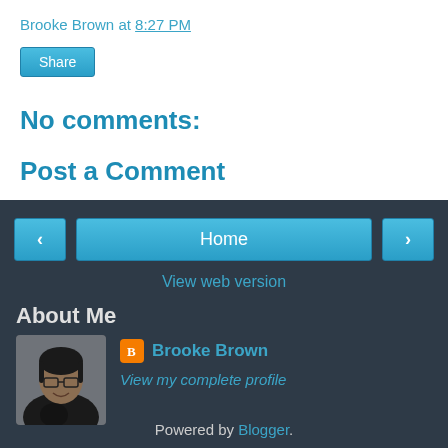Brooke Brown at 8:27 PM
Share
No comments:
Post a Comment
‹
Home
›
View web version
About Me
[Figure (photo): Profile photo of Brooke Brown - person with glasses and dark hoodie in front of microphone]
Brooke Brown
View my complete profile
Powered by Blogger.